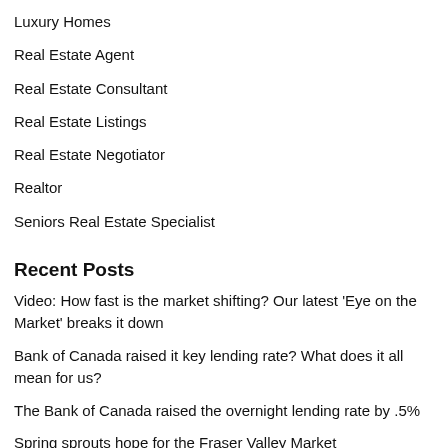Luxury Homes
Real Estate Agent
Real Estate Consultant
Real Estate Listings
Real Estate Negotiator
Realtor
Seniors Real Estate Specialist
Recent Posts
Video: How fast is the market shifting? Our latest ‘Eye on the Market’ breaks it down
Bank of Canada raised it key lending rate? What does it all mean for us?
The Bank of Canada raised the overnight lending rate by .5%
Spring sprouts hope for the Fraser Valley Market